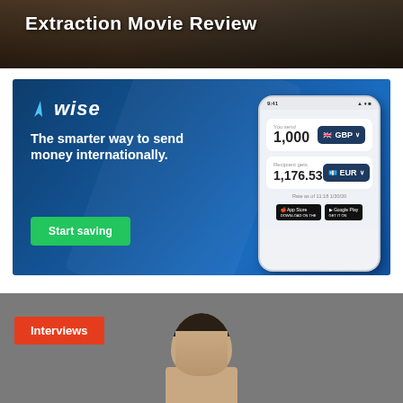[Figure (photo): Dark movie banner with text 'Extraction Movie Review' on a dark/brown background]
[Figure (infographic): Wise (formerly TransferWise) advertisement banner with blue gradient background. Shows Wise logo, tagline 'The smarter way to send money internationally.', a green 'Start saving' button, and a phone mockup showing a currency transfer interface with 1,000 GBP converting to 1,176.53 EUR. Rate as of 11:18 1/30/20.]
[Figure (photo): Gray background section with orange 'Interviews' label tag and partial view of a man's head/face (dark hair, appears to be a headshot interview thumbnail)]